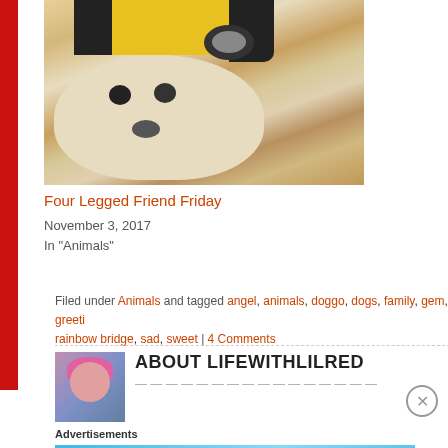[Figure (photo): A fluffy white dog wearing a yellow Minion costume hat with black googles]
Four Legged Friend Friday
November 3, 2017
In "Animals"
Filed under Animals and tagged angel, animals, doggo, dogs, family, gem, greeting, rainbow bridge, sad, sweet | 4 Comments
ABOUT LIFEWITHLILRED
Advertisements
[Figure (screenshot): Day One journaling app advertisement banner: 'The only journaling app you’ll ever need.']